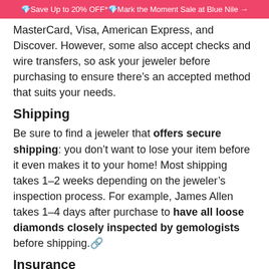💎Save Up to 20% OFF*💎Mark the Moment Sale at Blue Nile →
MasterCard, Visa, American Express, and Discover. However, some also accept checks and wire transfers, so ask your jeweler before purchasing to ensure there's an accepted method that suits your needs.
Shipping
Be sure to find a jeweler that offers secure shipping: you don't want to lose your item before it even makes it to your home! Most shipping takes 1–2 weeks depending on the jeweler's inspection process. For example, James Allen takes 1–4 days after purchase to have all loose diamonds closely inspected by gemologists before shipping.🔗
Insurance
Consider insuring your new diamond. While not